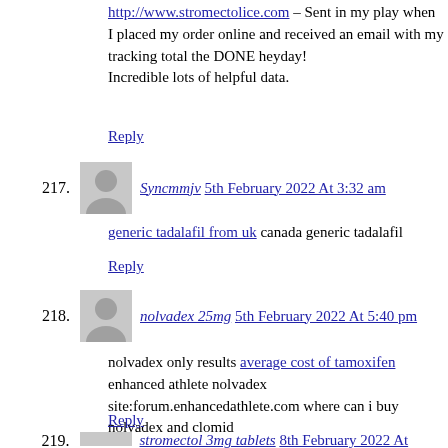http://www.stromectolice.com – Sent in my play when I placed my order online and received an email with my tracking total the DONE heyday! Incredible lots of helpful data.
Reply
217. Syncmmjv 5th February 2022 At 3:32 am
generic tadalafil from uk canada generic tadalafil
Reply
218. nolvadex 25mg 5th February 2022 At 5:40 pm
nolvadex only results average cost of tamoxifen enhanced athlete nolvadex site:forum.enhancedathlete.com where can i buy nolvadex and clomid
Reply
219. stromectol 3mg tablets 8th February 2022 At 12:49 am